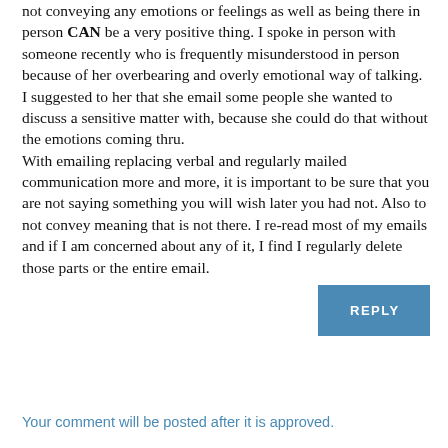not conveying any emotions or feelings as well as being there in person CAN be a very positive thing. I spoke in person with someone recently who is frequently misunderstood in person because of her overbearing and overly emotional way of talking. I suggested to her that she email some people she wanted to discuss a sensitive matter with, because she could do that without the emotions coming thru.
With emailing replacing verbal and regularly mailed communication more and more, it is important to be sure that you are not saying something you will wish later you had not. Also to not convey meaning that is not there. I re-read most of my emails and if I am concerned about any of it, I find I regularly delete those parts or the entire email.
REPLY
Your comment will be posted after it is approved.